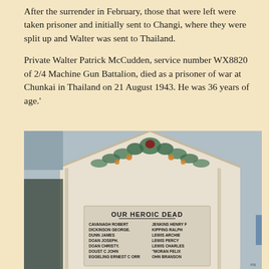After the surrender in February, those that were left were taken prisoner and initially sent to Changi, where they were split up and Walter was sent to Thailand.
Private Walter Patrick McCudden, service number WX8820 of 2/4 Machine Gun Battalion, died as a prisoner of war at Chunkai in Thailand on 21 August 1943. He was 36 years of age.'
[Figure (photo): Photograph of a war memorial monument with a triangular pediment decorated with green foliage and a central emblem. The white stone plaque reads 'OUR HEROIC DEAD' followed by names in two columns: CAVANAGH ROBERT, JENKINS HENRY F, DICKINSON GEORGE, KIPPING RALPH, DUNN JAMES, LEWIS ARCHIE, DOAN JOSEPH, LEWIS PERCY, DOAN CHRISTY, LEWIS CHARLES, DOUST C JOHN, MORAN FELIX, EGGELING ERNEST C ORR, OHN BRANSON.]